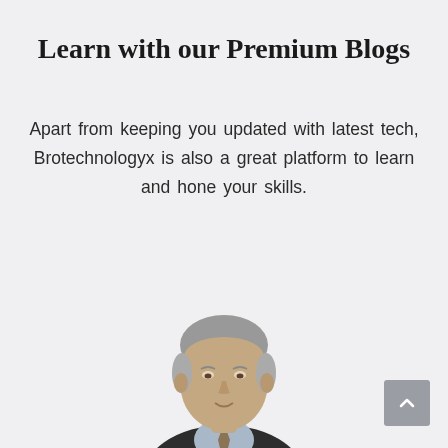Learn with our Premium Blogs
Apart from keeping you updated with latest tech, Brotechnologyx is also a great platform to learn and hone your skills.
[Figure (photo): A middle-aged man with grey hair wearing a dark suit and light blue shirt with a tie, photographed from the chest/shoulders up against a light background.]